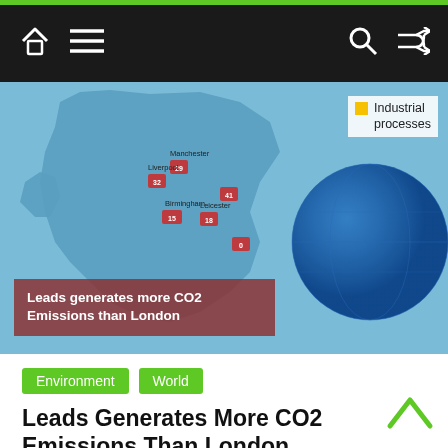Navigation bar with home, menu, search, and shuffle icons
[Figure (map): Partial screenshot of a UK CO2 emissions map with city markers and a blue globe/pie chart showing 87% industrial processes. A dark red overlay reads 'Leads generates more CO2 Emissions than London'. Industrial processes legend label with yellow square is shown top right.]
Environment   World
Leads Generates More CO2 Emissions Than London
August 15, 2020   Kaleem Naqvi   CO2, Co2 emissions, emissions, generates, leads, London
Residents in London generate 70 times their volume in CO2 emissions every dayLondon is near bottom of the list of
Read more